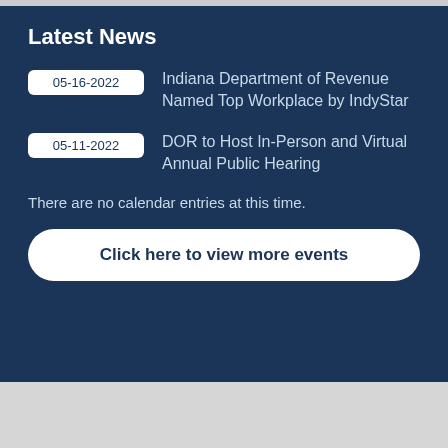Latest News
05-16-2022 — Indiana Department of Revenue Named Top Workplace by IndyStar
05-11-2022 — DOR to Host In-Person and Virtual Annual Public Hearing
There are no calendar entries at this time.
Click here to view more events
Top FAQs